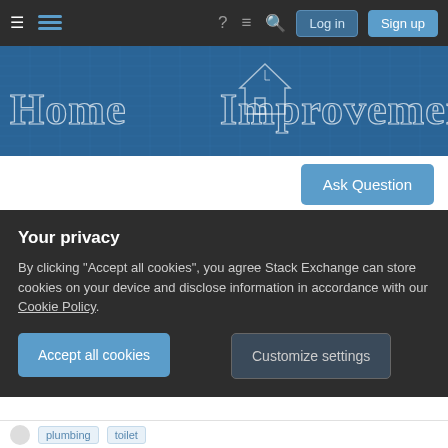Navigation bar with hamburger menu, Stack Exchange logo, help, chat, search icons, Log in and Sign up buttons
[Figure (illustration): Home Improvement Stack Exchange banner with blueprint-style house icon and stylized text 'Home Improvement' on blue background]
Ask Question
Using a sealant to stop a toilet tank leak
Asked 2 years, 9 months ago   Modified 9 months ago   Viewed 19k times
The toilet tank is leaking through the bolts, but the
Your privacy
By clicking "Accept all cookies", you agree Stack Exchange can store cookies on your device and disclose information in accordance with our Cookie Policy.
Accept all cookies
Customize settings